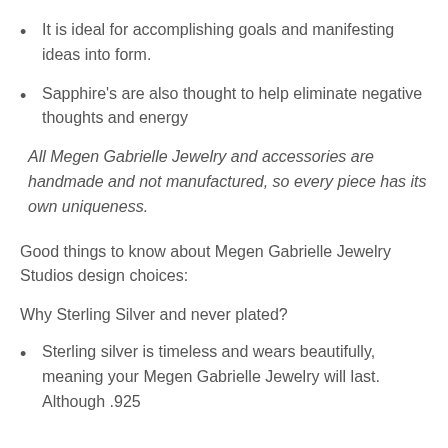It is ideal for accomplishing goals and manifesting ideas into form.
Sapphire's are also thought to help eliminate negative thoughts and energy
All Megen Gabrielle Jewelry and accessories are handmade and not manufactured, so every piece has its own uniqueness.
Good things to know about Megen Gabrielle Jewelry Studios design choices:
Why Sterling Silver and never plated?
Sterling silver is timeless and wears beautifully, meaning your Megen Gabrielle Jewelry will last. Although .925